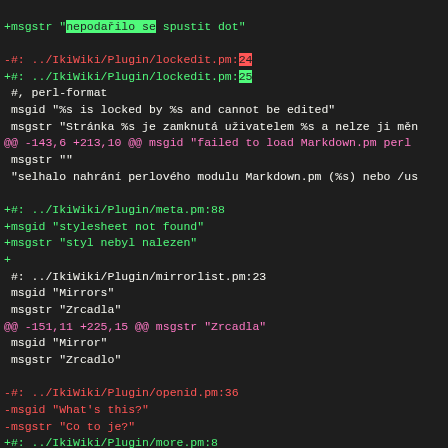diff output showing git/po file changes for IkiWiki Czech localization
[Figure (screenshot): Code diff view showing additions and removals in a .po translation file for IkiWiki plugins, with lines colored green for additions, red for removals, magenta for diff hunk headers, and white for context lines.]